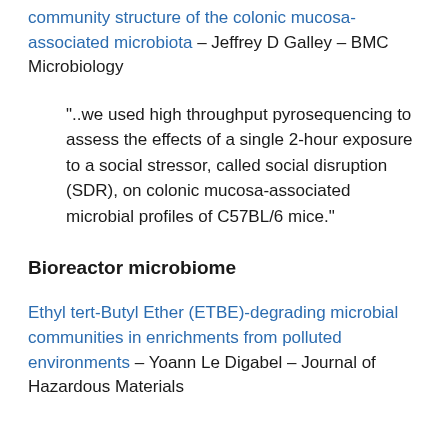community structure of the colonic mucosa-associated microbiota – Jeffrey D Galley – BMC Microbiology
"..we used high throughput pyrosequencing to assess the effects of a single 2-hour exposure to a social stressor, called social disruption (SDR), on colonic mucosa-associated microbial profiles of C57BL/6 mice."
Bioreactor microbiome
Ethyl tert-Butyl Ether (ETBE)-degrading microbial communities in enrichments from polluted environments – Yoann Le Digabel – Journal of Hazardous Materials